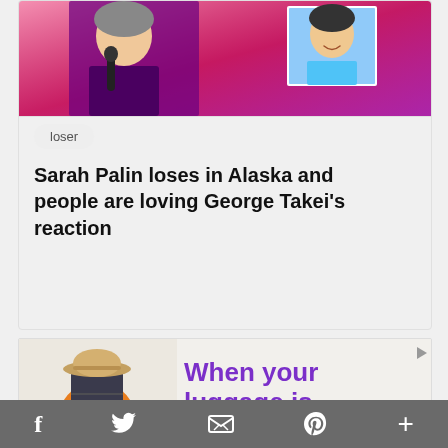[Figure (photo): A card with a photo showing two people against a pink/purple background — a woman on the left and a man in a small inset photo on the right.]
loser
Sarah Palin loses in Alaska and people are loving George Takei's reaction
[Figure (infographic): Advertisement showing a suitcase with an orange life ring and a straw hat, with text 'When your luggage is in Chicago,']
f  [twitter]  [email]  p  +